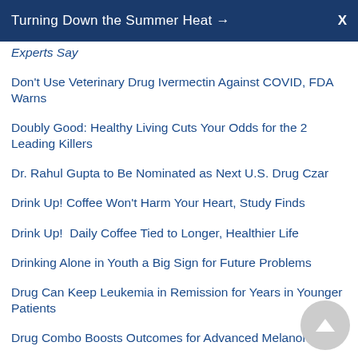Turning Down the Summer Heat →  X
Experts Say
Don't Use Veterinary Drug Ivermectin Against COVID, FDA Warns
Doubly Good: Healthy Living Cuts Your Odds for the 2 Leading Killers
Dr. Rahul Gupta to Be Nominated as Next U.S. Drug Czar
Drink Up! Coffee Won't Harm Your Heart, Study Finds
Drink Up!  Daily Coffee Tied to Longer, Healthier Life
Drinking Alone in Youth a Big Sign for Future Problems
Drug Can Keep Leukemia in Remission for Years in Younger Patients
Drug Combo Boosts Outcomes for Advanced Melanoma